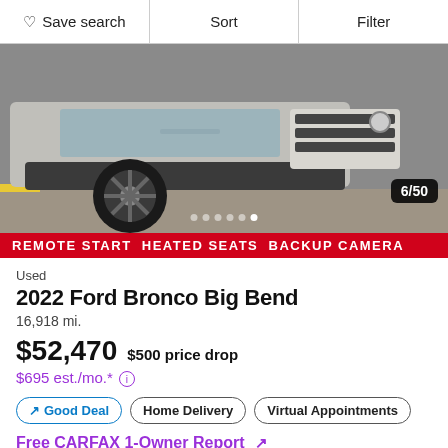Save search  Sort  Filter
[Figure (photo): Front view of a silver 2022 Ford Bronco Big Bend SUV in a parking area. Image counter shows 6/50 with carousel dots.]
REMOTE START  HEATED SEATS  BACKUP CAMERA
Used
2022 Ford Bronco Big Bend
16,918 mi.
$52,470  $500 price drop
$695 est./mo.*
Good Deal
Home Delivery
Virtual Appointments
Free CARFAX 1-Owner Report ↗
Liberty Ford Canton